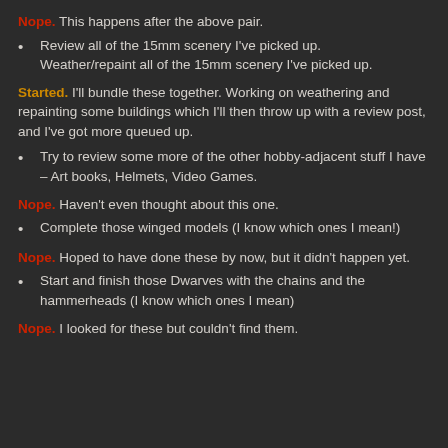Nope. This happens after the above pair.
Review all of the 15mm scenery I've picked up. Weather/repaint all of the 15mm scenery I've picked up.
Started. I'll bundle these together. Working on weathering and repainting some buildings which I'll then throw up with a review post, and I've got more queued up.
Try to review some more of the other hobby-adjacent stuff I have – Art books, Helmets, Video Games.
Nope. Haven't even thought about this one.
Complete those winged models (I know which ones I mean!)
Nope. Hoped to have done these by now, but it didn't happen yet.
Start and finish those Dwarves with the chains and the hammerheads (I know which ones I mean)
Nope. I looked for these but couldn't find them.